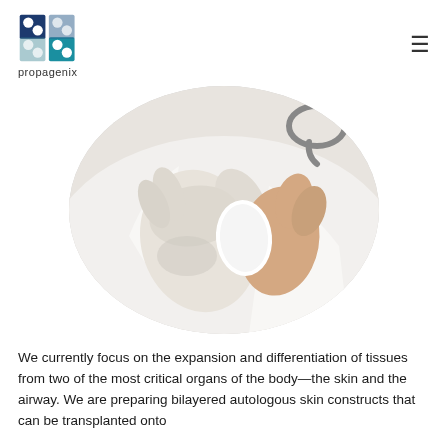propagenix
[Figure (photo): Close-up photo of a gloved medical hand holding a small white object, possibly a medical implant or tissue construct, with a stethoscope visible in the background. The image is cropped in a circular frame.]
We currently focus on the expansion and differentiation of tissues from two of the most critical organs of the body—the skin and the airway. We are preparing bilayered autologous skin constructs that can be transplanted onto